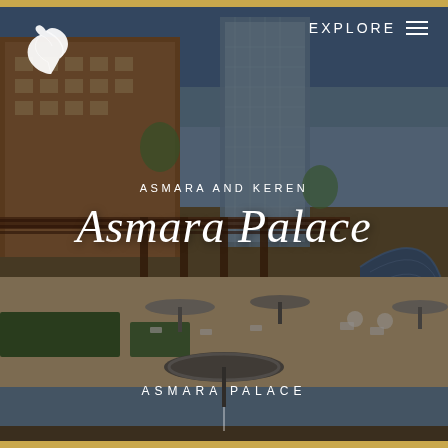[Figure (photo): Hotel exterior photo showing Asmara Palace hotel with pool area, lounge chairs, umbrellas, pergola, modern tower building, blue dome structure, and gardens under a clear blue sky. Dark overlay applied.]
EXPLORE
ASMARA AND KEREN
Asmara Palace
ASMARA PALACE